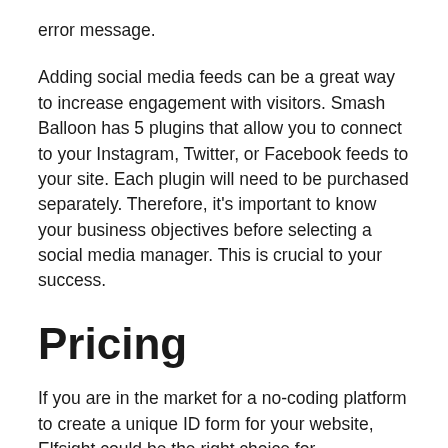error message.
Adding social media feeds can be a great way to increase engagement with visitors. Smash Balloon has 5 plugins that allow you to connect to your Instagram, Twitter, or Facebook feeds to your site. Each plugin will need to be purchased separately. Therefore, it’s important to know your business objectives before selecting a social media manager. This is crucial to your success.
Pricing
If you are in the market for a no-coding platform to create a unique ID form for your website, Elfsight could be the right choice for